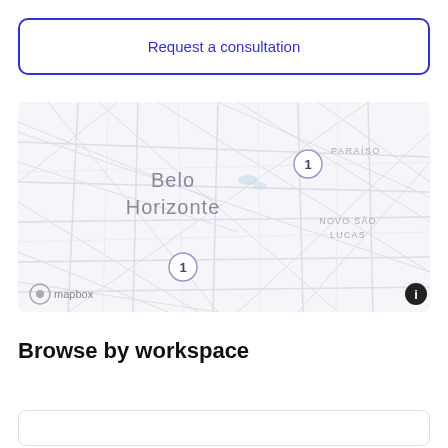Request a consultation
[Figure (map): Mapbox map showing Belo Horizonte area with neighborhood labels PARAÍSO and NOVO SÃO LUCAS, two cluster markers labeled '1', and Mapbox attribution logo in bottom left.]
Browse by workspace